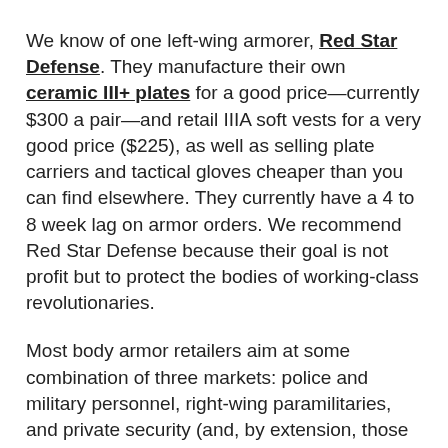We know of one left-wing armorer, Red Star Defense. They manufacture their own ceramic III+ plates for a good price—currently $300 a pair—and retail IIIA soft vests for a very good price ($225), as well as selling plate carriers and tactical gloves cheaper than you can find elsewhere. They currently have a 4 to 8 week lag on armor orders. We recommend Red Star Defense because their goal is not profit but to protect the bodies of working-class revolutionaries.
Most body armor retailers aim at some combination of three markets: police and military personnel, right-wing paramilitaries, and private security (and, by extension, those involved in illegal capitalism). A few retailers also focus on protecting civilians and